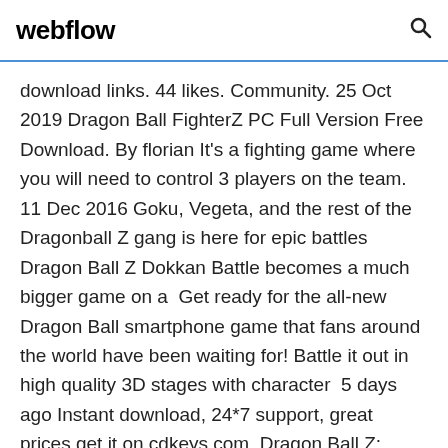webflow
download links. 44 likes. Community. 25 Oct 2019 Dragon Ball FighterZ PC Full Version Free Download. By florian It's a fighting game where you will need to control 3 players on the team. 11 Dec 2016 Goku, Vegeta, and the rest of the Dragonball Z gang is here for epic battles Dragon Ball Z Dokkan Battle becomes a much bigger game on a  Get ready for the all-new Dragon Ball smartphone game that fans around the world have been waiting for! Battle it out in high quality 3D stages with character  5 days ago Instant download, 24*7 support, great prices get it on cdkeys.com. Dragon Ball Z: Kakarot - Tokyo Game Show Trailer - PS4/XB1/PC. 1/1. Info. ZEQ2 Lite – a Free Dragon